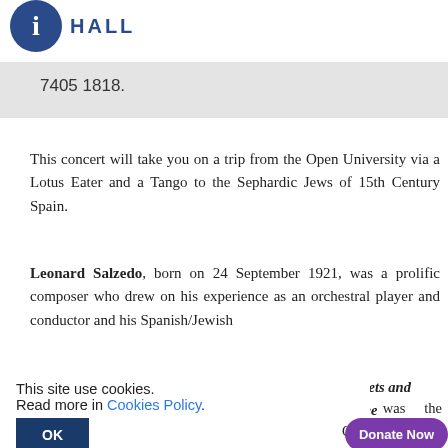i HALL
7405 1818.
This concert will take you on a trip from the Open University via a Lotus Eater and a Tango to the Sephardic Jews of 15th Century Spain.
Leonard Salzedo, born on 24 September 1921, was a prolific composer who drew on his experience as an orchestral player and conductor and his Spanish/Jewish
This site use cookies.
Read more in Cookies Policy.
OK
umpets and Three
cert was the Open
rass was
mble will also play a
Donate Now